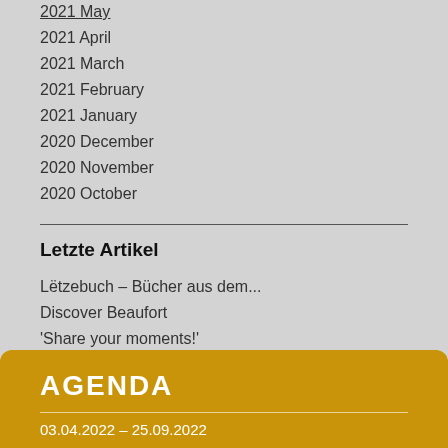2021 May
2021 April
2021 March
2021 February
2021 January
2020 December
2020 November
2020 October
Letzte Artikel
Lëtzebuch – Bücher aus dem...
Discover Beaufort
'Share your moments!'
Et war eng traureg Woch fir...
Great minds think alike!
AGENDA
03.04.2022 – 25.09.2022